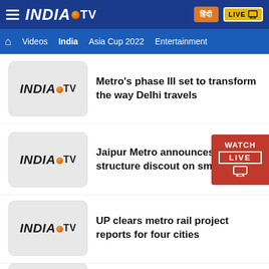INDIA TV — Navigation: Home, Videos, India, Asia Cup 2022, Entertainment
Metro's phase III set to transform the way Delhi travels
Jaipur Metro announces fare structure discout on smart cards
UP clears metro rail project reports for four cities